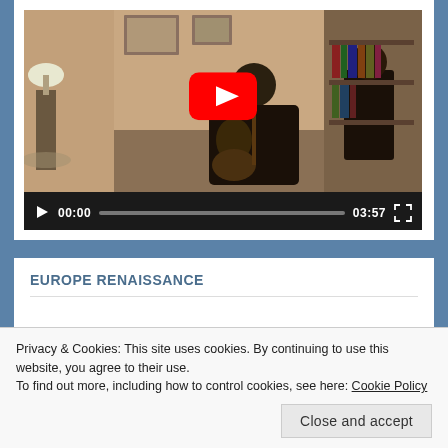[Figure (screenshot): YouTube video thumbnail showing a person playing guitar in a room with a lamp. Video player controls show time 00:00 and duration 03:57.]
EUROPE RENAISSANCE
MICHAEL WALSH AWARD WINNING WRITING AND BOOK PUBLISHING
Privacy & Cookies: This site uses cookies. By continuing to use this website, you agree to their use.
To find out more, including how to control cookies, see here: Cookie Policy
Close and accept